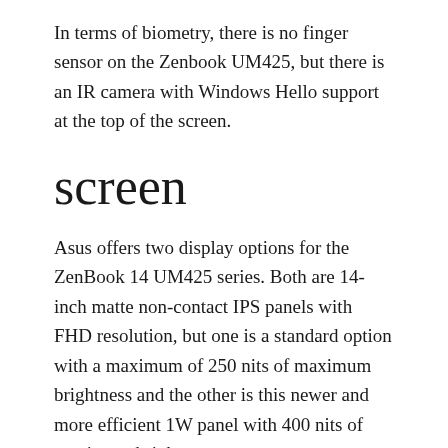In terms of biometry, there is no finger sensor on the Zenbook UM425, but there is an IR camera with Windows Hello support at the top of the screen.
screen
Asus offers two display options for the ZenBook 14 UM425 series. Both are 14-inch matte non-contact IPS panels with FHD resolution, but one is a standard option with a maximum of 250 nits of maximum brightness and the other is this newer and more efficient 1W panel with 400 nits of maximum brightness.